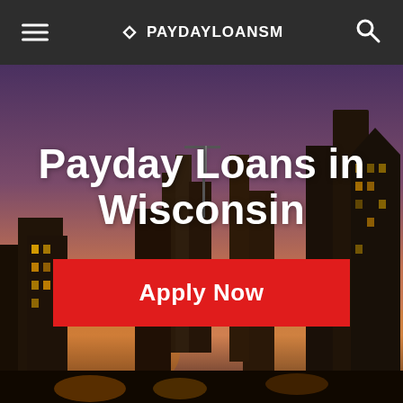PAYDAYLOANSM
Payday Loans in Wisconsin
Apply Now